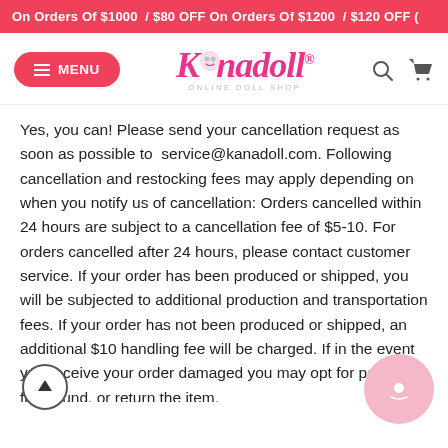On Orders Of $1000 / $80 OFF On Orders Of $1200 / $120 OFF (
[Figure (screenshot): Kanadoll online doll shop navigation bar with MENU button, logo, search and cart icons]
Yes, you can! Please send your cancellation request as soon as possible to service@kanadoll.com. Following cancellation and restocking fees may apply depending on when you notify us of cancellation: Orders cancelled within 24 hours are subject to a cancellation fee of $5-10. For orders cancelled after 24 hours, please contact customer service. If your order has been produced or shipped, you will be subjected to additional production and transportation fees. If your order has not been produced or shipped, an additional $10 handling fee will be charged. If in the event you receive your order damaged you may opt for par... or full refund, or return the item.